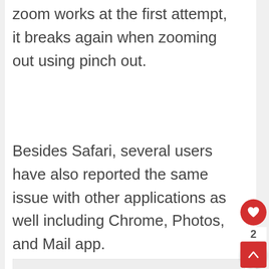zoom works at the first attempt, it breaks again when zooming out using pinch out.
Besides Safari, several users have also reported the same issue with other applications as well including Chrome, Photos, and Mail app.
[Figure (other): Light gray rectangular image placeholder area]